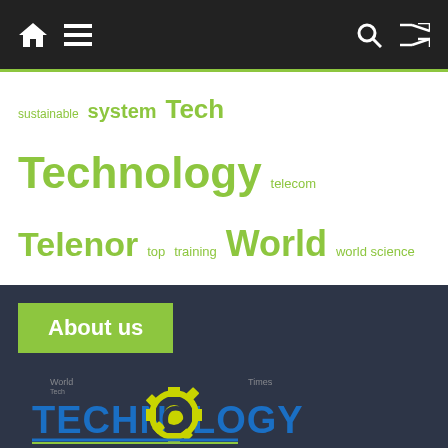Navigation bar with home, menu, search, and shuffle icons
sustainable system Tech Technology telecom Telenor top training World world science
About us
[Figure (logo): Technology Times logo with gear and www.technologytimes.pk URL]
Science & technology sector remain neglected in Pakistan; both at government and public level. Even, when it comes to development or criticism, there was no media to address the issues. We all know that the news media plays a critical role as one of the primary means through which scientific and technological issues are brought to the attention of the